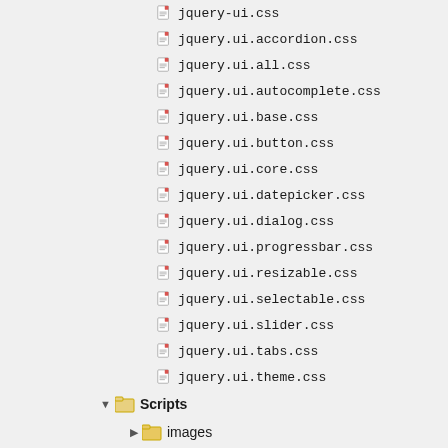jquery-ui.css
jquery.ui.accordion.css
jquery.ui.all.css
jquery.ui.autocomplete.css
jquery.ui.base.css
jquery.ui.button.css
jquery.ui.core.css
jquery.ui.datepicker.css
jquery.ui.dialog.css
jquery.ui.progressbar.css
jquery.ui.resizable.css
jquery.ui.selectable.css
jquery.ui.slider.css
jquery.ui.tabs.css
jquery.ui.theme.css
Scripts (folder)
images (folder)
atalaWebDocumentViewer.css
atalaWebDocumentViewer.js
jquery-1.7.1-vsdoc.js
jquery-1.7.1.js
jquery-1.7.1.min.js
jquery-ui-1.8.14.js
jquery-ui-1.8.14.min.js
jquery.easing.1.3.js